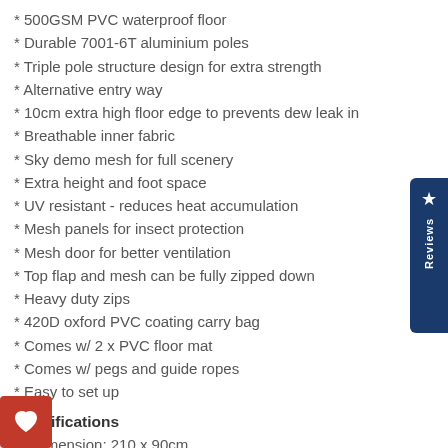* 500GSM PVC waterproof floor
* Durable 7001-6T aluminium poles
* Triple pole structure design for extra strength
* Alternative entry way
* 10cm extra high floor edge to prevents dew leak in
* Breathable inner fabric
* Sky demo mesh for full scenery
* Extra height and foot space
* UV resistant - reduces heat accumulation
* Mesh panels for insect protection
* Mesh door for better ventilation
* Top flap and mesh can be fully zipped down
* Heavy duty zips
* 420D oxford PVC coating carry bag
* Comes w/ 2 x PVC floor mat
* Comes w/ pegs and guide ropes
* Easy to set up
Specifications
se dimension: 210 x 90cm
* Mattress thickness: approx. 60mm